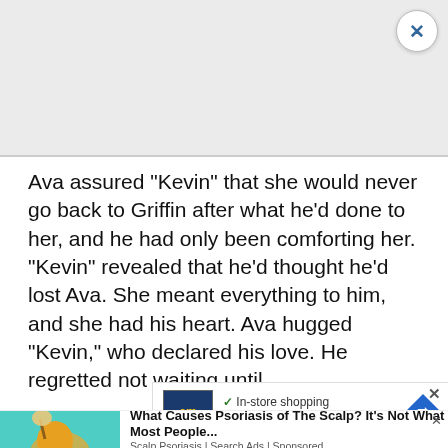[Figure (screenshot): Top advertisement banner area, gray background with close (X) button in top right corner]
Ava assured "Kevin" that she would never go back to Griffin after what he'd done to her, and he had only been comforting her. "Kevin" revealed that he'd thought he'd lost Ava. She meant everything to him, and she had his heart. Ava hugged "Kevin," who declared his love. He regretted not waiting until
[Figure (screenshot): Middle advertisement overlay: cm logo with In-store shopping, Curbside pickup, Delivery options and a diamond/direction icon]
[Figure (screenshot): Bottom advertisement: What Causes Psoriasis of The Scalp? It's Not What Most People... — Scalp Psoriasis | Search Ads | Sponsored]